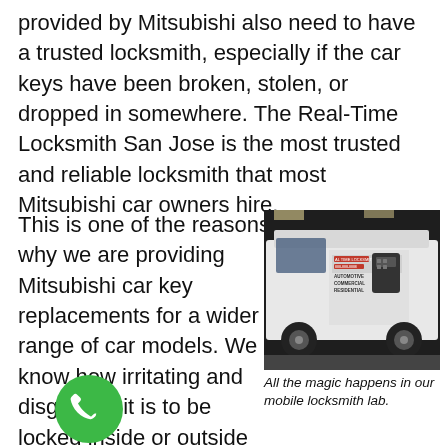provided by Mitsubishi also need to have a trusted locksmith, especially if the car keys have been broken, stolen, or dropped in somewhere. The Real-Time Locksmith San Jose is the most trusted and reliable locksmith that most Mitsubishi car owners hire.
This is one of the reasons why we are providing Mitsubishi car key replacements for a wider range of car models. We know how irritating and disgusting it is to be locked inside or outside your car because you lost your car key, as well as spare keys. We are in the mission to ensure that there is no one who will experience this kind of scenario day-by-day. Our teams
[Figure (photo): A white locksmith service van with branding including 'AUTOMOTIVE', 'COMMERCIAL', 'RESIDENTIAL' and a phone number, parked in what appears to be a parking garage.]
All the magic happens in our mobile locksmith lab.